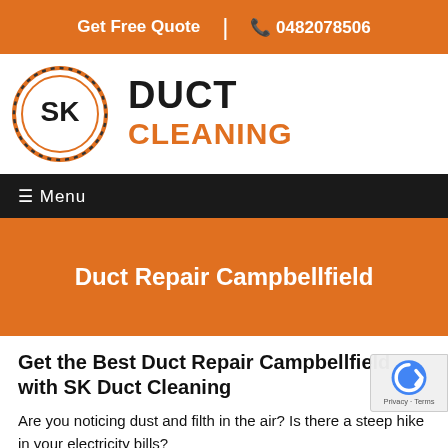Get Free Quote  |  📞 0482078506
[Figure (logo): SK Duct Cleaning logo — circular badge with SK initials, followed by bold text DUCT in black and CLEANING in orange]
☰ Menu
Duct Repair Campbellfield
Get the Best Duct Repair Campbellfield with SK Duct Cleaning
Are you noticing dust and filth in the air? Is there a steep hike in your electricity bills?
Well, when was the last time that you repaired your